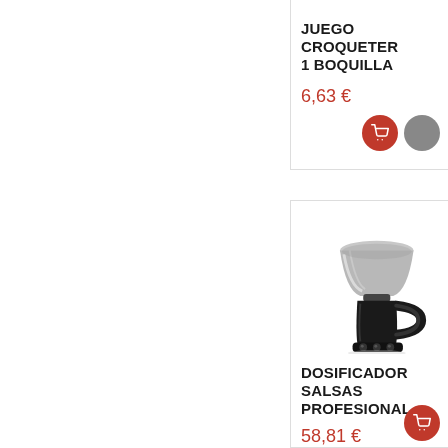JUEGO CROQUETER 1 BOQUILLA
6,63 €
[Figure (photo): Dosificador salsas profesional - a black kitchen sauce dispenser/coffee maker with a stainless steel funnel top and black body with handle]
DOSIFICADOR SALSAS PROFESIONAL
58,81 €